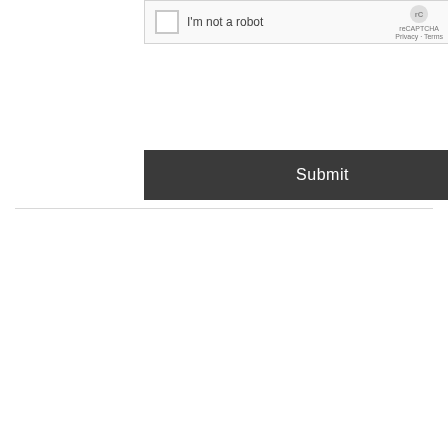[Figure (screenshot): reCAPTCHA widget with checkbox labeled 'I'm not a robot' and reCAPTCHA branding with Privacy and Terms links]
Submit
TWITTER FEED
Tweets from @thyroidfriends
Thyroid ...